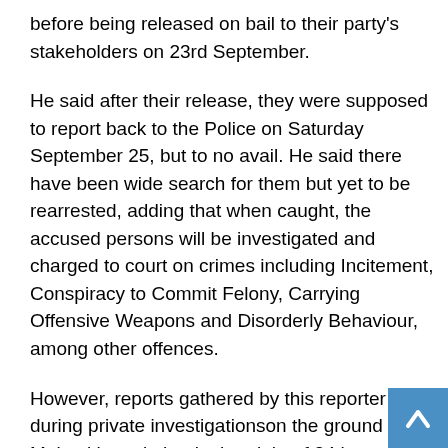before being released on bail to their party's stakeholders on 23rd September.
He said after their release, they were supposed to report back to the Police on Saturday September 25, but to no avail. He said there have been wide search for them but yet to be rearrested, adding that when caught, the accused persons will be investigated and charged to court on crimes including Incitement, Conspiracy to Commit Felony, Carrying Offensive Weapons and Disorderly Behaviour, among other offences.
However, reports gathered by this reporter during private investigationson the ground in Makeni have it that in the night of 24th September, the houses of Shekuna and others were raided and ransacked with machetes by some members of a deadly and thuggery faction of the party in power named 'SLPP Tag Men'and that stones were pelted on houses and